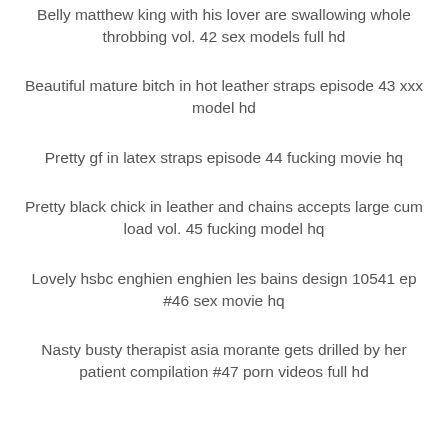Belly matthew king with his lover are swallowing whole throbbing vol. 42 sex models full hd
Beautiful mature bitch in hot leather straps episode 43 xxx model hd
Pretty gf in latex straps episode 44 fucking movie hq
Pretty black chick in leather and chains accepts large cum load vol. 45 fucking model hq
Lovely hsbc enghien enghien les bains design 10541 ep #46 sex movie hq
Nasty busty therapist asia morante gets drilled by her patient compilation #47 porn videos full hd